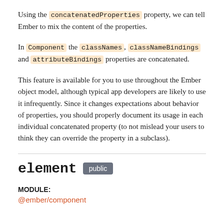Using the concatenatedProperties property, we can tell Ember to mix the content of the properties.
In Component the classNames, classNameBindings and attributeBindings properties are concatenated.
This feature is available for you to use throughout the Ember object model, although typical app developers are likely to use it infrequently. Since it changes expectations about behavior of properties, you should properly document its usage in each individual concatenated property (to not mislead your users to think they can override the property in a subclass).
element public
MODULE:
@ember/component